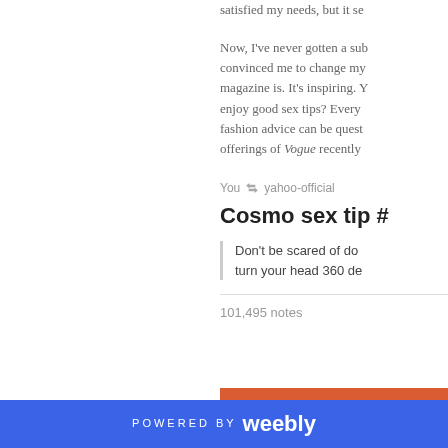satisfied my needs, but it se
Now, I've never gotten a sub convinced me to change my magazine is. It's inspiring. Y enjoy good sex tips? Every fashion advice can be quest offerings of Vogue recently
You ↺ yahoo-official
Cosmo sex tip #
Don't be scared of do turn your head 360 de
101,495 notes
[Figure (logo): The New School logo on orange/red banner background]
POWERED BY weebly